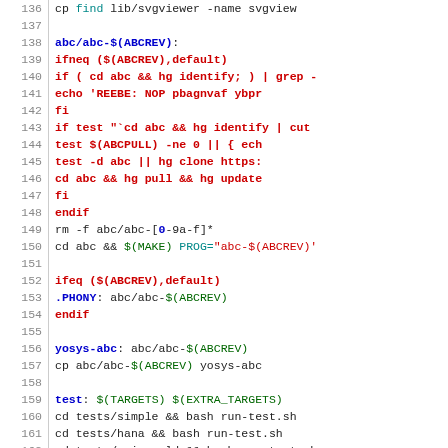[Figure (screenshot): Source code listing (Makefile) showing lines 136-166 with syntax highlighting. Line numbers in gray on left, make targets and directives in blue/red/green.]